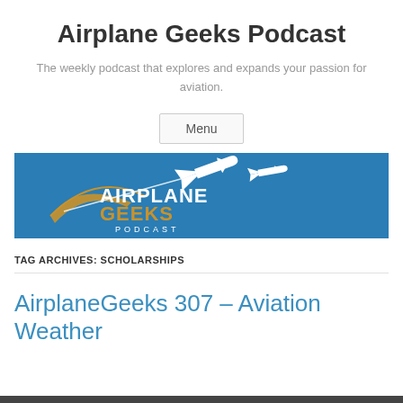Airplane Geeks Podcast
The weekly podcast that explores and expands your passion for aviation.
Menu
[Figure (logo): Airplane Geeks Podcast logo on blue background with gold/white airplane and 'AIRPLANEGEEKS PODCAST' text]
TAG ARCHIVES: SCHOLARSHIPS
AirplaneGeeks 307 – Aviation Weather